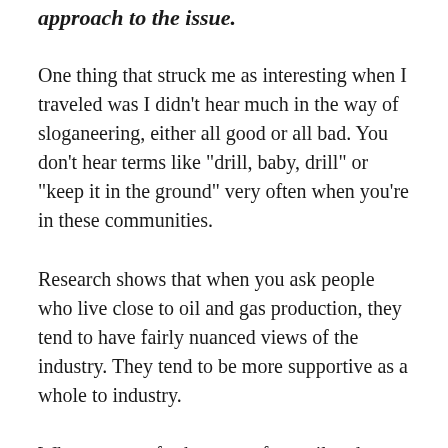approach to the issue.
One thing that struck me as interesting when I traveled was I didn’t hear much in the way of sloganeering, either all good or all bad. You don’t hear terms like “drill, baby, drill” or “keep it in the ground” very often when you’re in these communities.
Research shows that when you ask people who live close to oil and gas production, they tend to have fairly nuanced views of the industry. They tend to be more supportive as a whole to industry.
When you get further away from oil and gas producing regions, the data show that people’s